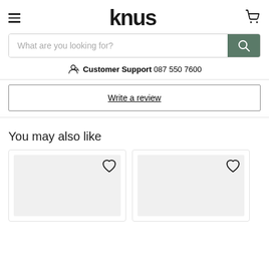knus — hamburger menu, logo, cart icon
What are you looking for?
Customer Support  087 550 7600
Write a review
You may also like
[Figure (other): Two product cards with heart/wishlist icons and grey image placeholder areas]
[Figure (other): Second product card, partially visible, with heart icon and grey image area]